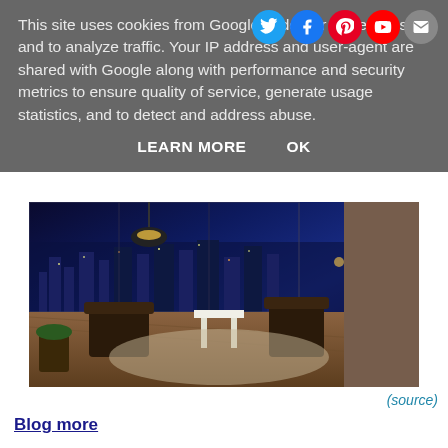This site uses cookies from Google to deliver its services and to analyze traffic. Your IP address and user-agent are shared with Google along with performance and security metrics to ensure quality of service, generate usage statistics, and to detect and address abuse.
LEARN MORE   OK
[Figure (photo): Interior photo of a luxury apartment or penthouse living room at night with city skyline visible through floor-to-ceiling windows. Modern furniture including chairs around a table.]
(source)
Blog more
I re started this blog in October and managed only 3 blog posts in October and none since. Life has been really unpredictable (a close family member became seriously ill) and although I had the best intentions when I wrote this in October, my personal blog had to be put to one side again. I